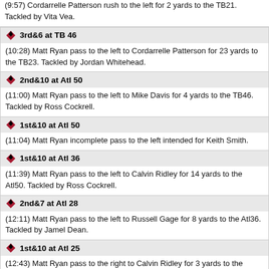(9:57) Cordarrelle Patterson rush to the left for 2 yards to the TB21. Tackled by Vita Vea.
3rd&6 at TB 46 | (10:28) Matt Ryan pass to the left to Cordarrelle Patterson for 23 yards to the TB23. Tackled by Jordan Whitehead.
2nd&10 at Atl 50 | (11:00) Matt Ryan pass to the left to Mike Davis for 4 yards to the TB46. Tackled by Ross Cockrell.
1st&10 at Atl 50 | (11:04) Matt Ryan incomplete pass to the left intended for Keith Smith.
1st&10 at Atl 36 | (11:39) Matt Ryan pass to the left to Calvin Ridley for 14 yards to the Atl50. Tackled by Ross Cockrell.
2nd&7 at Atl 28 | (12:11) Matt Ryan pass to the left to Russell Gage for 8 yards to the Atl36. Tackled by Jamel Dean.
1st&10 at Atl 25 | (12:43) Matt Ryan pass to the right to Calvin Ridley for 3 yards to the Atl28. Tackled by Lavonte David.
4th&- at TB 35 | (12:43) Bradley Pinion kicks off to the endzone. Touchback.